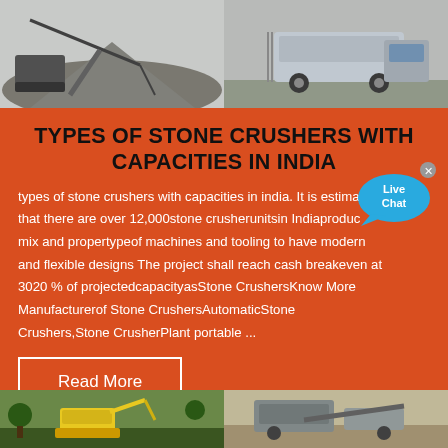[Figure (photo): Two industrial stone crusher / mining site photos at top of page, side by side]
TYPES OF STONE CRUSHERS WITH CAPACITIES IN INDIA
types of stone crushers with capacities in india. It is estimated that there are over 12,000stone crusherunitsin Indiaproducing mix and propertypeof machines and tooling to have modern and flexible designs The project shall reach cash breakeven at 3020 % of projectedcapacityasStone CrushersKnow More Manufacturerof Stone CrushersAutomaticStone Crushers,Stone CrusherPlant portable ...
[Figure (photo): Live Chat button overlay bubble on orange section]
Read More
[Figure (photo): Two more industrial/construction site photos at bottom of page, side by side]